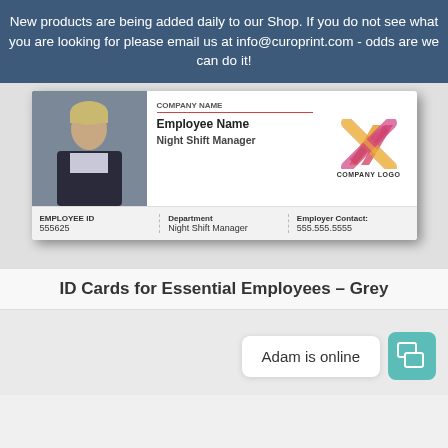New products are being added daily to our Shop. If you do not see what you are looking for please email us at info@curoprint.com - odds are we can do it!
[Figure (other): Employee ID card showing a professional woman photo, Night Shift Manager title, company logo, Employee ID 555625, Department Night Shift Manager, Employer Contact 555.555.5555]
ID Cards for Essential Employees – Grey
Adam is online